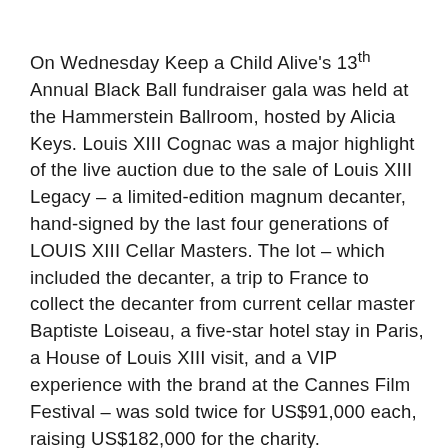On Wednesday Keep a Child Alive's 13th Annual Black Ball fundraiser gala was held at the Hammerstein Ballroom, hosted by Alicia Keys. Louis XIII Cognac was a major highlight of the live auction due to the sale of Louis XIII Legacy – a limited-edition magnum decanter, hand-signed by the last four generations of LOUIS XIII Cellar Masters. The lot – which included the decanter, a trip to France to collect the decanter from current cellar master Baptiste Loiseau, a five-star hotel stay in Paris, a House of Louis XIII visit, and a VIP experience with the brand at the Cannes Film Festival – was sold twice for US$91,000 each, raising US$182,000 for the charity.